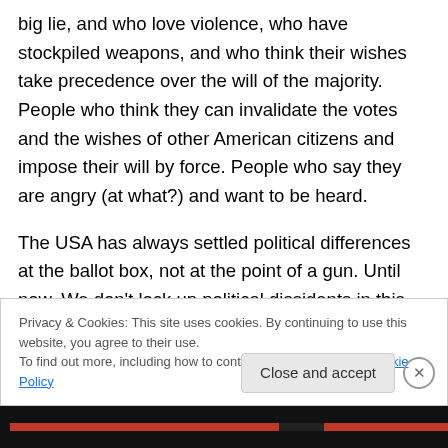big lie, and who love violence, who have stockpiled weapons, and who think their wishes take precedence over the will of the majority.  People who think they can invalidate the votes and the wishes of other American citizens and impose their will by force. People who say they are angry (at what?) and want to be heard.
The USA has always settled political differences at the ballot box, not at the point of a gun.  Until now.  We don't lock up political dissidents in this country. At least, we never have in the past.  But what do we do with people
Privacy & Cookies: This site uses cookies. By continuing to use this website, you agree to their use.
To find out more, including how to control cookies, see here: Cookie Policy